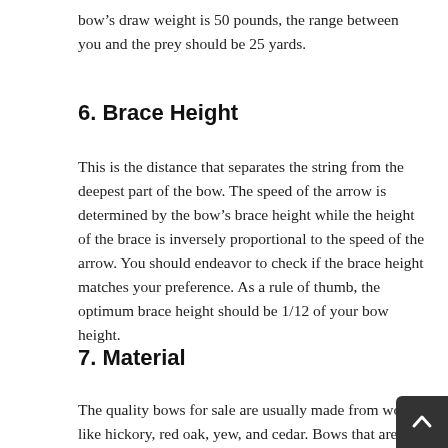bow's draw weight is 50 pounds, the range between you and the prey should be 25 yards.
6. Brace Height
This is the distance that separates the string from the deepest part of the bow. The speed of the arrow is determined by the bow's brace height while the height of the brace is inversely proportional to the speed of the arrow. You should endeavor to check if the brace height matches your preference. As a rule of thumb, the optimum brace height should be 1/12 of your bow height.
7. Material
The quality bows for sale are usually made from woods like hickory, red oak, yew, and cedar. Bows that are made from these woods are more secure, accurate, and ope smoothly. You should check the features to see if the